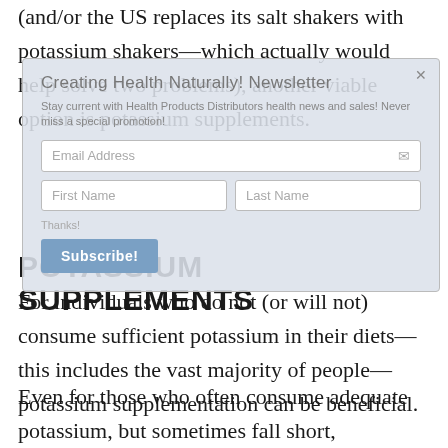(and/or the US replaces its salt shakers with potassium shakers—which actually would help solve two problems), another viable option is potassium supplements.
[Figure (screenshot): Newsletter subscription popup overlay from 'Creating Health Naturally! Newsletter' with fields for Email Address, First Name, Last Name, and a Subscribe button, partially obscuring the article text.]
POTASSIUM SUPPLEMENTS
For individuals who do not (or will not) consume sufficient potassium in their diets—this includes the vast majority of people—potassium supplementation can be beneficial.
Even for those who often consume adequate potassium, but sometimes fall short, supplementation is a useful option because it allows for increased potassium intake during times when